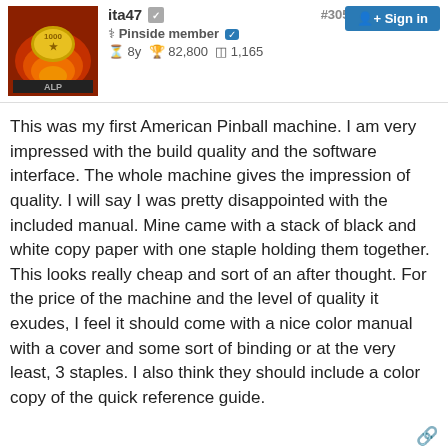ita47  #3051  Sign in
Pinside member  8y  82,800  1,165
This was my first American Pinball machine. I am very impressed with the build quality and the software interface. The whole machine gives the impression of quality. I will say I was pretty disappointed with the included manual. Mine came with a stack of black and white copy paper with one staple holding them together. This looks really cheap and sort of an after thought. For the price of the machine and the level of quality it exudes, I feel it should come with a nice color manual with a cover and some sort of binding or at the very least, 3 staples. I also think they should include a color copy of the quick reference guide.
KingPinGames  #3052  12 months  0
Kingpin Games  Wisconsin Dells, WI  10y  112K  3,939  14